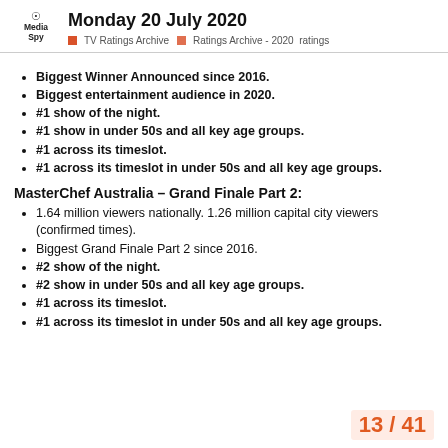Monday 20 July 2020 | TV Ratings Archive | Ratings Archive - 2020 | ratings
Biggest Winner Announced since 2016.
Biggest entertainment audience in 2020.
#1 show of the night.
#1 show in under 50s and all key age groups.
#1 across its timeslot.
#1 across its timeslot in under 50s and all key age groups.
MasterChef Australia – Grand Finale Part 2:
1.64 million viewers nationally. 1.26 million capital city viewers (confirmed times).
Biggest Grand Finale Part 2 since 2016.
#2 show of the night.
#2 show in under 50s and all key age groups.
#1 across its timeslot.
#1 across its timeslot in under 50s and all key age groups.
13 / 41